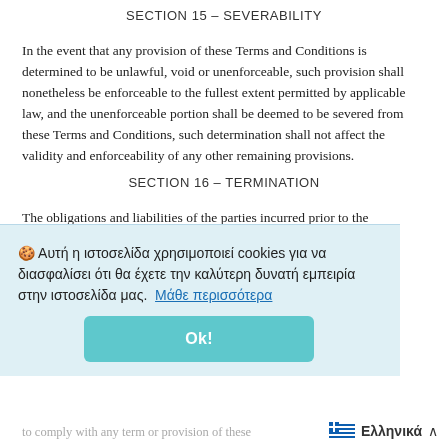SECTION 15 – SEVERABILITY
In the event that any provision of these Terms and Conditions is determined to be unlawful, void or unenforceable, such provision shall nonetheless be enforceable to the fullest extent permitted by applicable law, and the unenforceable portion shall be deemed to be severed from these Terms and Conditions, such determination shall not affect the validity and enforceability of any other remaining provisions.
SECTION 16 – TERMINATION
The obligations and liabilities of the parties incurred prior to the termination date shall survive the termination of this agreement
[Figure (screenshot): Cookie consent banner in Greek language overlaying the page. Text reads: 'Αυτή η ιστοσελίδα χρησιμοποιεί cookies για να διασφαλίσει ότι θα έχετε την καλύτερη δυνατή εμπειρία στην ιστοσελίδα μας. Μάθε περισσότερα' with an Ok! button.]
to comply with any term or provision of these